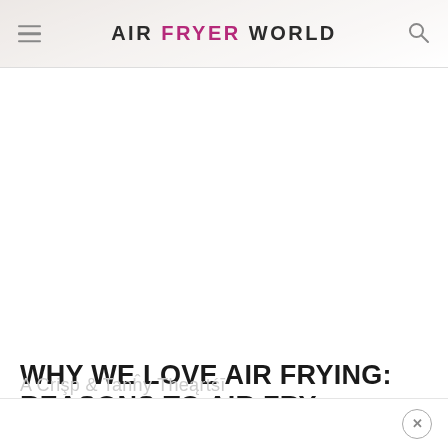AIR FRYER WORLD
[Figure (photo): Faded/washed out hero image area at top of page behind header]
WHY WE LOVE AIR FRYING: REASONS TO AIR FRY